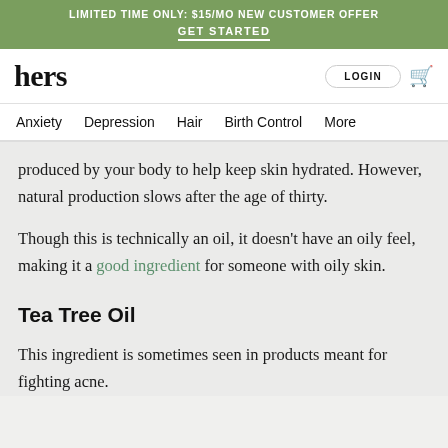LIMITED TIME ONLY: $15/MO NEW CUSTOMER OFFER GET STARTED
hers LOGIN
Anxiety  Depression  Hair  Birth Control  More
produced by your body to help keep skin hydrated. However, natural production slows after the age of thirty.
Though this is technically an oil, it doesn't have an oily feel, making it a good ingredient for someone with oily skin.
Tea Tree Oil
This ingredient is sometimes seen in products meant for fighting acne.